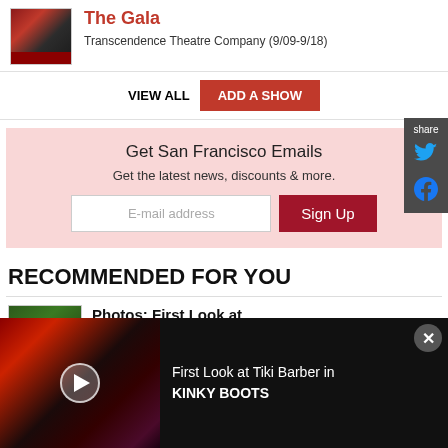The Gala
Transcendence Theatre Company (9/09-9/18)
VIEW ALL  ADD A SHOW
Get San Francisco Emails
Get the latest news, discounts & more.
E-mail address  Sign Up
RECOMMENDED FOR YOU
Photos: First Look at
First Look at Tiki Barber in KINKY BOOTS